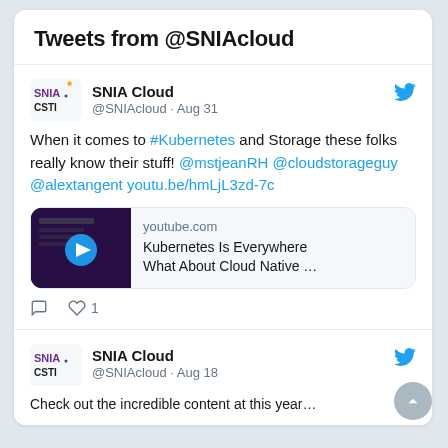Tweets from @SNIAcloud
SNIA Cloud @SNIAcloud · Aug 31
When it comes to #Kubernetes and Storage these folks really know their stuff! @mstjeanRH @cloudstorageguy  @alextangent youtu.be/hmLjL3zd-7c
[Figure (screenshot): YouTube link preview showing thumbnail with play button, domain 'youtube.com', title 'Kubernetes Is Everywhere What About Cloud Native ...']
1 like
SNIA Cloud @SNIAcloud · Aug 18
Check out the incredible content at this year...